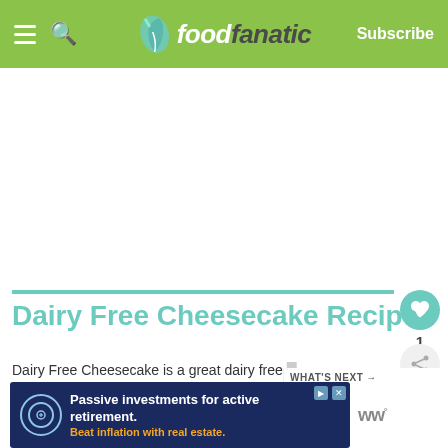foodfanatic — Subscribe
[Figure (screenshot): White blank content area (ad placeholder)]
Dairy Free Cheesecake Recipe
Dairy Free Cheesecake is a great dairy free dessert that everyone will be smitten with. Can also be made ahead and frozen.
Added: July 28, 2015
[Figure (screenshot): What's Next panel: 19 Gluten-Free Recipes Tha...]
[Figure (screenshot): Advertisement banner: Passive investments for active retirement. Beat inflation with real estate. WW logo.]